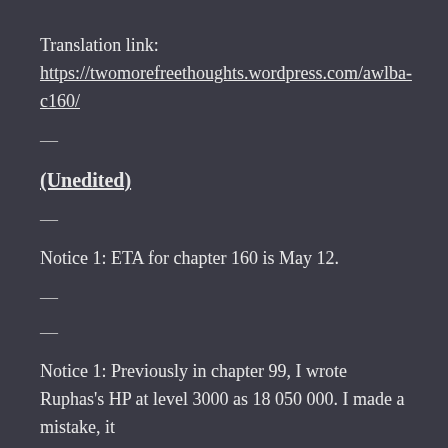Translation link: https://twomorefreethoughts.wordpress.com/awlba-c160/
—
(Unedited)
—
Notice 1: ETA for chapter 160 is May 12.
—
—
Notice 1: Previously in chapter 99, I wrote Ruphas's HP at level 3000 as 18 050 000. I made a mistake, it